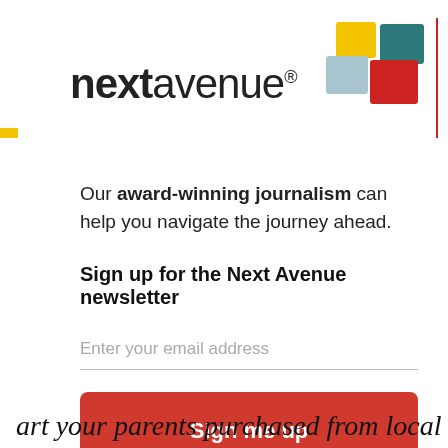[Figure (logo): Next Avenue logo with bold 'next' and regular 'avenue' text, registered trademark symbol, and colored geometric squares (yellow, blue/gray, red, teal) top right]
Our award-winning journalism can help you navigate the journey ahead.
Sign up for the Next Avenue newsletter
Enter your email address
Sign me up
No thanks
art your parents purchased from local